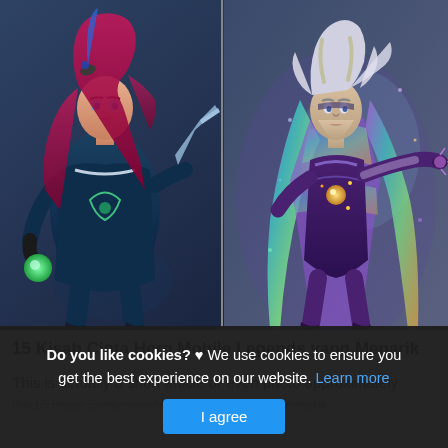[Figure (illustration): Two Mobile Legends game characters side by side: left is a female hero with red hair wearing a dark blue outfit with green orb, right is a male hero with white hair wearing a purple outfit with glowing colorful cape]
15 Kisah Cinta Hero Mobile Legends yang Menarik
This is actually a short article or even photo approximately the 15 Kisah Cinta Hero Mobile Legends yang Menarik
Do you like cookies? ♥ We use cookies to ensure you get the best experience on our website. Learn more I agree